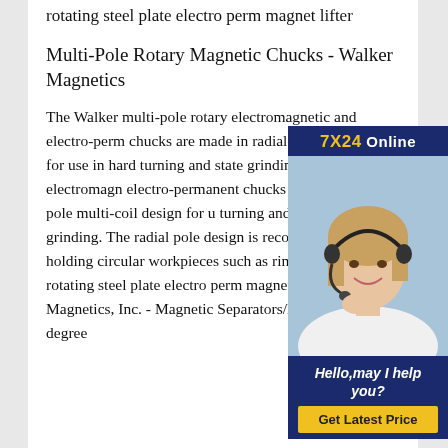rotating steel plate electro perm magnet lifter
Multi-Pole Rotary Magnetic Chucks - Walker Magnetics
The Walker multi-pole rotary electromagnetic and electro-perm chucks are made in radial pole multi-coil design for use in hard turning and free state grinding.Rotary electromagnetic and electro-permanent chucks are made in radial pole multi-coil design for use in hard turning and free state grinding. The radial pole design is recommended for holding circular workpieces such as rings and 90 degree rotating steel plate electro perm magnet lifter Puritan Magnetics, Inc. - Magnetic Separators/Magnetic 90 degree
[Figure (photo): Customer service representative with headset smiling, with overlaid ad widget showing '7X24 Online', 'Hello,may I help you?', and a 'Get Latest Price' button on dark navy background]